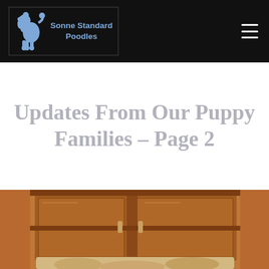Sonne Standard Poodles
Updates From Our Puppy Families – Page 2
[Figure (photo): Partial photo of a puppy near wooden cabinet/furniture at the bottom of the page]